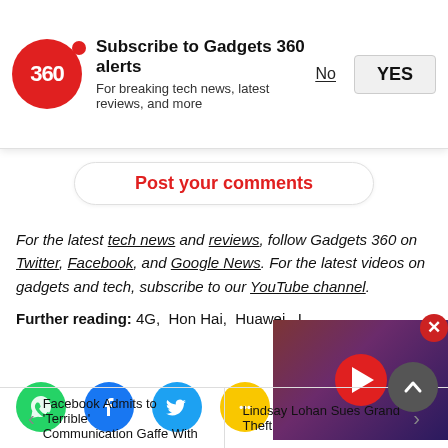[Figure (infographic): Gadgets 360 subscription notification bar with red circular logo showing '360', title 'Subscribe to Gadgets 360 alerts', subtitle 'For breaking tech news, latest reviews, and more', and No/YES buttons]
Post your comments
For the latest tech news and reviews, follow Gadgets 360 on Twitter, Facebook, and Google News. For the latest videos on gadgets and tech, subscribe to our YouTube channel.
Further reading: 4G, Hon Hai, Huawei, I...
[Figure (photo): Video thumbnail showing a large TV with galaxy/nebula wallpaper on screen, with a red play button overlay]
Facebook Admits to 'Terrible' Communication Gaffe With | Lindsay Lohan Sues Grand Theft